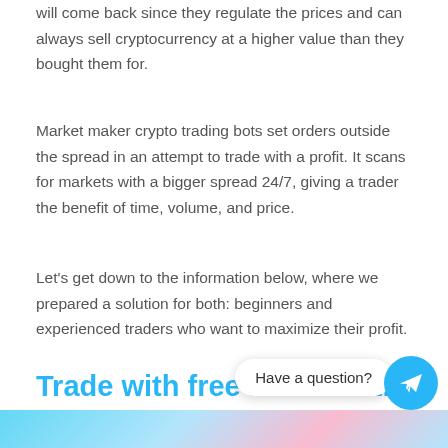will come back since they regulate the prices and can always sell cryptocurrency at a higher value than they bought them for.
Market maker crypto trading bots set orders outside the spread in an attempt to trade with a profit. It scans for markets with a bigger spread 24/7, giving a trader the benefit of time, volume, and price.
Let’s get down to the information below, where we prepared a solution for both: beginners and experienced traders who want to maximize their profit.
Trade with free hands with a sublime trading bot